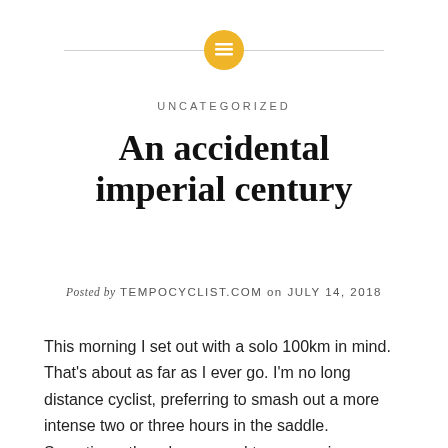[decorative icon header with horizontal rule]
UNCATEGORIZED
An accidental imperial century
Posted by TEMPOCYCLIST.COM on JULY 14, 2018
This morning I set out with a solo 100km in mind. That's about as far as I ever go. I'm no long distance cyclist, preferring to smash out a more intense two or three hours in the saddle. Sometimes though you need to go on a journey and as I had nothing else to do all day, I just kept pedalling! By the time I got back to the car I had covered a shade over 166km! Quite